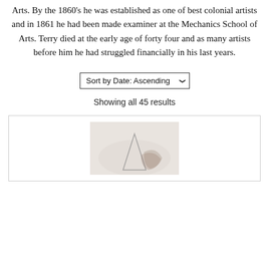Arts. By the 1860's he was established as one of best colonial artists and in 1861 he had been made examiner at the Mechanics School of Arts. Terry died at the early age of forty four and as many artists before him he had struggled financially in his last years.
Sort by Date: Ascending
Showing all 45 results
[Figure (photo): A photograph or artwork image shown inside a card/product listing, appearing to show a triangular or sail-like shape against a light background.]